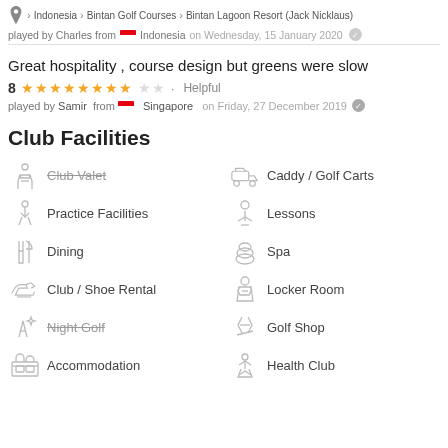Indonesia > Bintan Golf Courses > Bintan Lagoon Resort (Jack Nicklaus)
played by Charles from Indonesia on Wednesday, 15 January 2020
Great hospitality , course design but greens were slow
8 ★★★★★★★★☆☆ · Helpful
played by Samir from Singapore on Friday, 27 December 2019
Club Facilities
Club Valet (unavailable)
Caddy / Golf Carts
Practice Facilities
Lessons
Dining
Spa
Club / Shoe Rental
Locker Room
Night Golf (unavailable)
Golf Shop
Accommodation
Health Club